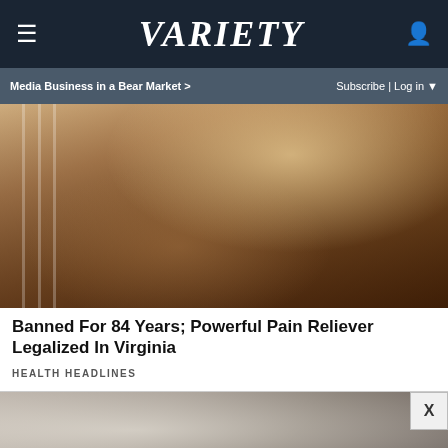VARIETY
Media Business in a Bear Market > | Subscribe | Log in
[Figure (photo): Close-up of a woman tilting her head back, appearing to consume liquid drops, with light bokeh background]
Banned For 84 Years; Powerful Pain Reliever Legalized In Virginia
HEALTH HEADLINES
[Figure (photo): Partial view of a person lying down, dark hair visible, with an X close button overlay]
[Figure (other): Advertisement banner: SPY-TESTED MASSAGE GUN NOW JUST $79 with SPY logo on yellow background]